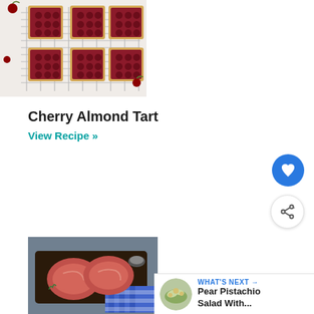[Figure (photo): Overhead photo of cherry almond tart squares arranged on a wire cooling rack on white surface, with fresh cherries scattered around]
Cherry Almond Tart
View Recipe »
[Figure (photo): Photo of two raw ribeye steaks on a dark cutting board with herbs and seasoning, blue and white checkered cloth nearby]
[Figure (photo): Small circular thumbnail of pear pistachio salad]
WHAT'S NEXT → Pear Pistachio Salad With...